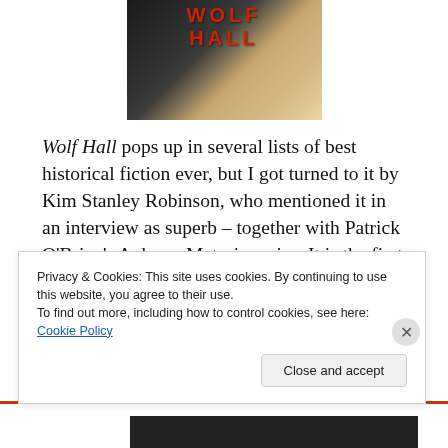[Figure (photo): Book cover image with red letters at top against dark and tan background]
Wolf Hall pops up in several lists of best historical fiction ever, but I got turned to it by Kim Stanley Robinson, who mentioned it in an interview as superb – together with Patrick O'Brian's Aubrey–Maturin series. It is the first book in a planned trilogy spanning the life of Thomas Cromwell, advisor to Henry VIII, and famous for having had a hand in the creation of the Anglican church, as well as in the downfall of both Thomas More and Anne Boleyn.
Privacy & Cookies: This site uses cookies. By continuing to use this website, you agree to their use.
To find out more, including how to control cookies, see here: Cookie Policy
Close and accept